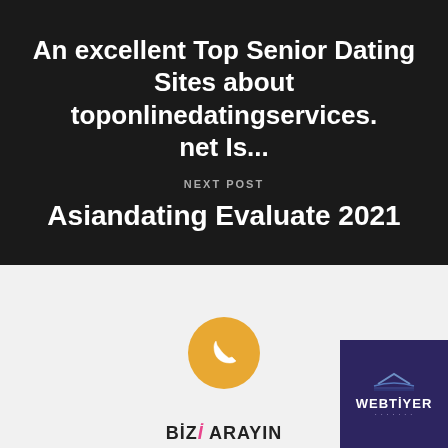An excellent Top Senior Dating Sites about toponlinedatingservices.net Is...
NEXT POST
Asiandating Evaluate 2021
[Figure (logo): Golden/orange circle with white phone handset icon]
BİZİ ARAYIN
[Figure (logo): Purple square card with WEBTİYER logo text and small boat/wave icon]